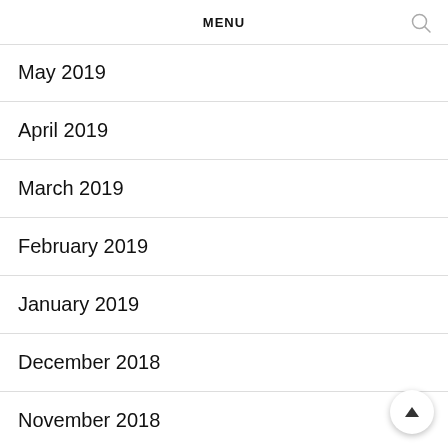MENU
May 2019
April 2019
March 2019
February 2019
January 2019
December 2018
November 2018